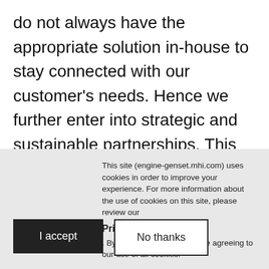do not always have the appropriate solution in-house to stay connected with our customer's needs. Hence we further enter into strategic and sustainable partnerships. This initiative stems from our mission statement, Morten Brix (General Manager MTEE NL, Engine & Energy division) "Power comes from collaboration. We work closely with our partners to discover power solutions for
This site (engine-genset.mhi.com) uses cookies in order to improve your experience. For more information about the use of cookies on this site, please review our
Privacy Policy ›
. By clicking 'I accept', you are agreeing to our use of all cookies.
I accept
No thanks